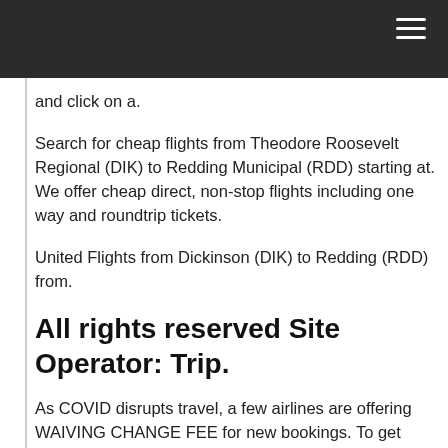and click on a.
Search for cheap flights from Theodore Roosevelt Regional (DIK) to Redding Municipal (RDD) starting at. We offer cheap direct, non-stop flights including one way and roundtrip tickets.
United Flights from Dickinson (DIK) to Redding (RDD) from.
All rights reserved Site Operator: Trip.
As COVID disrupts travel, a few airlines are offering WAIVING CHANGE FEE for new bookings. To get lowest flight ticket prices on Dickinson - (RDD) Redding, Redding Municipal Airport - compare more dates: start again with comparison and book